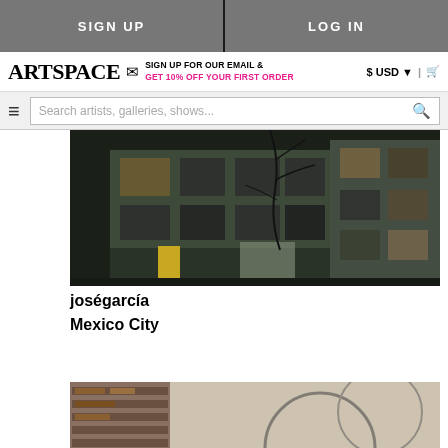SIGN UP | LOG IN
ARTSPACE — SIGN UP FOR OUR EMAIL & GET 10% OFF YOUR FIRST ORDER — $ USD | cart
Search artists, galleries, shows...
[Figure (photo): Night-time exterior photograph of a multi-story gallery building with illuminated windows and bare tree branches against dark sky]
joségarcía
Mexico City
[Figure (photo): Partial view of a studio or gallery interior showing shelving and a circular mirror or artwork, cropped at bottom of page]